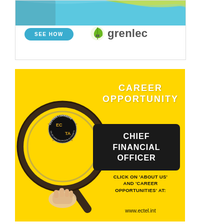[Figure (illustration): Grenlec advertisement banner with blue-green wave background, 'SEE HOW' button, and Grenlec logo with leaf icon]
[Figure (illustration): ECTEL career opportunity advertisement on yellow background. Features a magnifying glass with the Eastern Caribbean Telecommunications Authority logo seal inside. Text reads: CAREER OPPORTUNITY, CHIEF FINANCIAL OFFICER, CLICK ON 'ABOUT US' AND 'CAREER OPPORTUNITIES' AT: www.ectel.int]